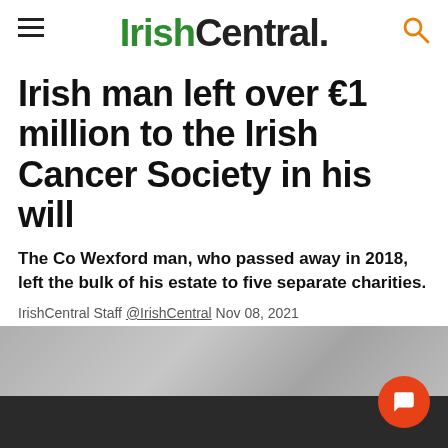IrishCentral.
Irish man left over €1 million to the Irish Cancer Society in his will
The Co Wexford man, who passed away in 2018, left the bulk of his estate to five separate charities.
IrishCentral Staff @IrishCentral Nov 08, 2021